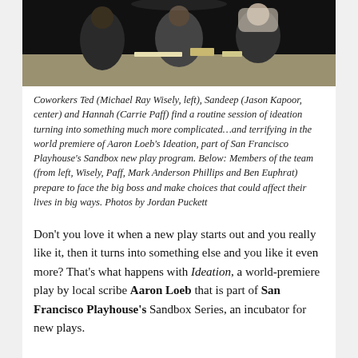[Figure (photo): Three coworkers seated at a table in a dark office setting; photo from San Francisco Playhouse production of Ideation]
Coworkers Ted (Michael Ray Wisely, left), Sandeep (Jason Kapoor, center) and Hannah (Carrie Paff) find a routine session of ideation turning into something much more complicated…and terrifying in the world premiere of Aaron Loeb's Ideation, part of San Francisco Playhouse's Sandbox new play program. Below: Members of the team (from left, Wisely, Paff, Mark Anderson Phillips and Ben Euphrat) prepare to face the big boss and make choices that could affect their lives in big ways. Photos by Jordan Puckett
Don't you love it when a new play starts out and you really like it, then it turns into something else and you like it even more? That's what happens with Ideation, a world-premiere play by local scribe Aaron Loeb that is part of San Francisco Playhouse's Sandbox Series, an incubator for new plays.